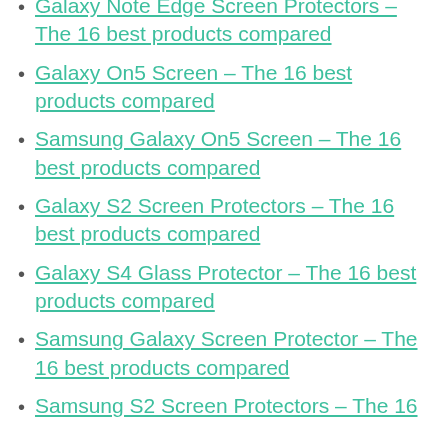Galaxy Note Edge Screen Protectors – The 16 best products compared
Galaxy On5 Screen – The 16 best products compared
Samsung Galaxy On5 Screen – The 16 best products compared
Galaxy S2 Screen Protectors – The 16 best products compared
Galaxy S4 Glass Protector – The 16 best products compared
Samsung Galaxy Screen Protector – The 16 best products compared
Samsung S2 Screen Protectors – The 16